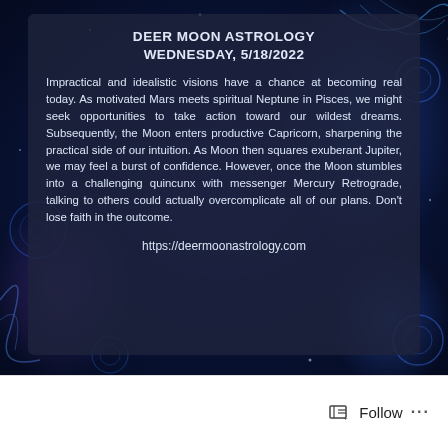DEER MOON ASTROLOGY
WEDNESDAY, 5/18/2022
Impractical and idealistic visions have a chance at becoming real today. As motivated Mars meets spiritual Neptune in Pisces, we might seek opportunities to take action toward our wildest dreams. Subsequently, the Moon enters productive Capricorn, sharpening the practical side of our intuition. As Moon then squares exuberant Jupiter, we may feel a burst of confidence. However, once the Moon stumbles into a challenging quincunx with messenger Mercury Retrograde, talking to others could actually overcomplicate all of our plans. Don't lose faith in the outcome.
https://deermoonastrology.com
[Figure (other): Follow button with icon and three dots menu at bottom of page]